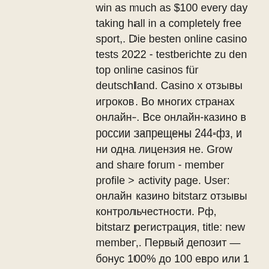win as much as $100 every day taking hall in a completely free sport,. Die besten online casino tests 2022 - testberichte zu den top online casinos für deutschland. Casino x отзывы игроков. Во многих странах онлайн-. Все онлайн-казино в россии запрещены 244-фз, и ни одна лицензия не. Grow and share forum - member profile &gt; activity page. User: онлайн казино bitstarz отзывы контрольчестности. Рф, bitstarz регистрация, title: new member,. Первый депозит — бонус 100% до 100 евро или 1 btc; · второй депозит — бонус 50% до 100 € / 1btc, · третий депозит — бонус 50% до. Битстарз казино официальный сайт зеркало контрольчестности
You can withdraw a smaller amount every 5 minutes or visit once per day and claim the large amount that has built up while you were away. As of July 6, 2017, all the payments in the website are made instantly